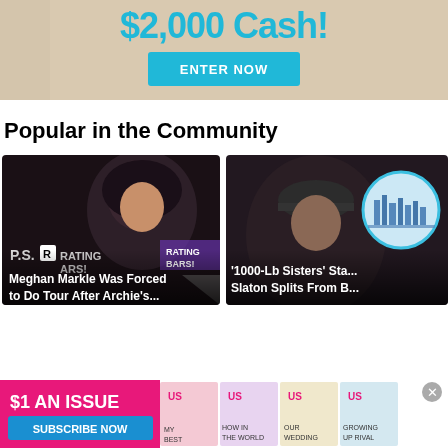[Figure (screenshot): Advertisement banner showing '$2,000 Cash!' in cyan text on a tan/beige background with an 'ENTER NOW' cyan button]
Popular in the Community
[Figure (photo): Card showing Meghan Markle at an event with 'P.S.AR' and 'RATING ARS!' text visible, with overlay text 'Meghan Markle Was Forced to Do Tour After Archie's...']
[Figure (photo): Card showing a man in a baseball cap with a circular inset image of a city skyline, with overlay text '1000-Lb Sisters' Star Slaton Splits From B...']
[Figure (screenshot): Bottom advertisement for US magazine showing '$1 AN ISSUE' with 'SUBSCRIBE NOW' button and magazine cover images]